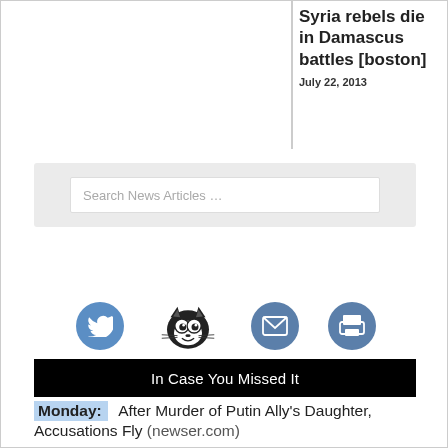Syria rebels die in Damascus battles [boston]
July 22, 2013
[Figure (other): Search news articles input field with light gray background]
[Figure (other): Row of social/action icons: Twitter (blue circle), Felix the Cat logo, Email (blue circle), Print (blue circle)]
In Case You Missed It
Monday: After Murder of Putin Ally's Daughter, Accusations Fly (newser.com)